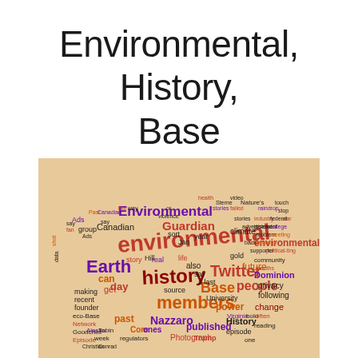Environmental, History, Base
[Figure (infographic): Word cloud in the shape of lips/mouth on a tan/beige background. Words include: environmental, Guardian, Earth, Base, history, members, Twitter, Canadian, Environmental, past, Nazzaro, published, Photograph, Trump, History, episode, power, Hill, change, following, privacy, Dominion, people, future, community, University, source, life, also, story, making, founder, Network, Goodchild, Episode, synonymous, comparison, Christian, Conrad, regulators, week, Alaska, Tobin, Virginia, reading, Core, county, energy, podcast, meet, global, shots, and many more small words in various colors including red, purple, orange/gold, dark red, and black.]